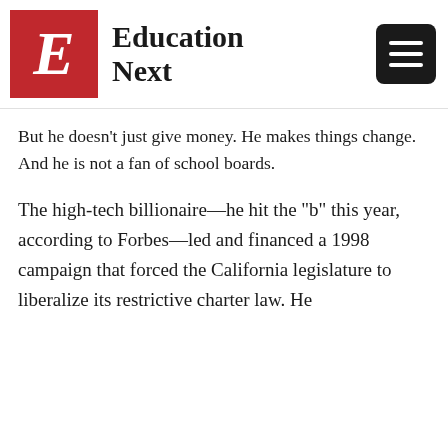Education Next
But he doesn’t just give money. He makes things change. And he is not a fan of school boards.
The high-tech billionaire—he hit the “b” this year, according to Forbes—led and financed a 1998 campaign that forced the California legislature to liberalize its restrictive charter law. He